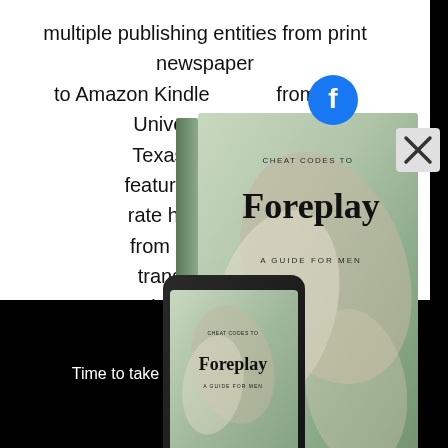multiple publishing entities from print newspaper to Amazon Kindle
Vi... degree from The University of Idaho ...
Texas Tech Univ... feature writer amo...
rate him as a 5-st...
from Columbia U...
transport you fr...
adventures sure...
[Figure (illustration): Book cover titled 'CHEAT CODES TO Foreplay A GUIDE FOR MEN' shown as a hardcover book with green/beige abstract organic cover design, displayed alongside a smartphone showing the same ebook cover]
Time to take notes!
Free
ebook selection!